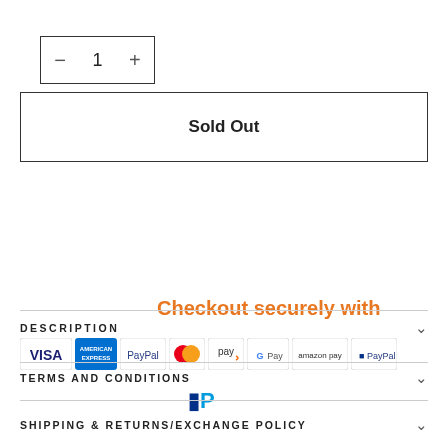[Figure (screenshot): Quantity selector box with minus, 1, plus buttons]
Sold Out
DESCRIPTION
[Figure (infographic): Checkout securely with payment icons: VISA, American Express, PayPal, Mastercard, Pay, G Pay, amazon pay, PayPal, and PayPal P logo]
TERMS AND CONDITIONS
SHIPPING & RETURNS/EXCHANGE POLICY